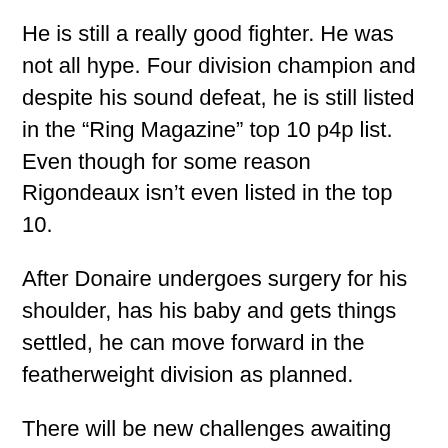He is still a really good fighter. He was not all hype. Four division champion and despite his sound defeat, he is still listed in the “Ring Magazine” top 10 p4p list. Even though for some reason Rigondeaux isn’t even listed in the top 10.
After Donaire undergoes surgery for his shoulder, has his baby and gets things settled, he can move forward in the featherweight division as planned.
There will be new challenges awaiting him at featherweight, guys like Daniel Ponce De Leon, Abner Mares, long time champion Chris John, Mikey Garcia, Orlando Salido and Juanma Lopez.
And that’s not even mentioning being able to make the successful transition of carrying the speed and power to the new weight class.